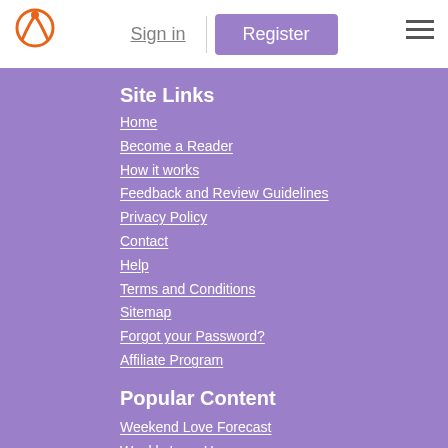Sign in | Register
Site Links
Home
Become a Reader
How it works
Feedback and Review Guidelines
Privacy Policy
Contact
Help
Terms and Conditions
Sitemap
Forgot your Password?
Affiliate Program
Popular Content
Weekend Love Forecast
Weekly Love Horoscopes
Daily Horoscopes